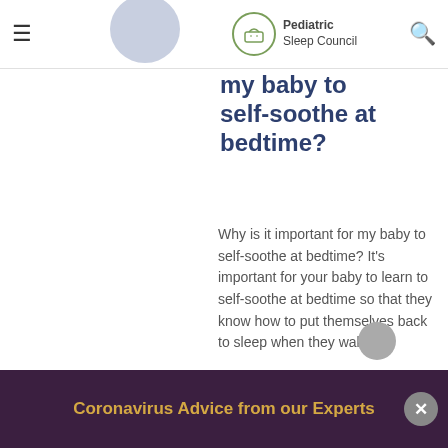Pediatric Sleep Council
my baby to self-soothe at bedtime?
Why is it important for my baby to self-soothe at bedtime? It’s important for your baby to learn to self-soothe at bedtime so that they know how to put themselves back to sleep when they wake
Coronavirus Advice from our Experts